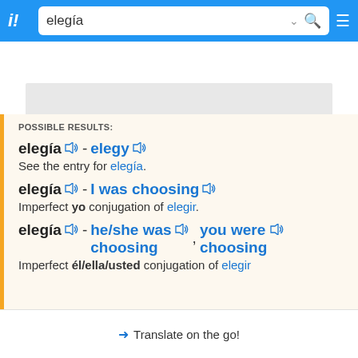elegía [search bar with logo and icons]
[Figure (screenshot): Gray advertisement placeholder area]
POSSIBLE RESULTS:
elegía 🔊 - elegy 🔊
See the entry for elegía.
elegía 🔊 - I was choosing 🔊
Imperfect yo conjugation of elegir.
elegía 🔊 - he/she was choosing 🔊, you were choosing 🔊
Imperfect él/ella/usted conjugation of elegir.
➜ Translate on the go!